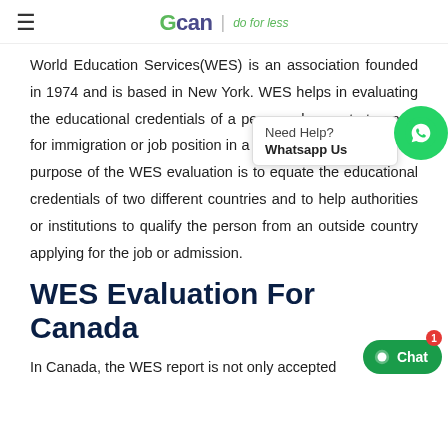≡  GCAN | do for less
World Education Services(WES) is an association founded in 1974 and is based in New York. WES helps in evaluating the educational credentials of a person who wants to apply for immigration or job position in a foreign country. The main purpose of the WES evaluation is to equate the educational credentials of two different countries and to help authorities or institutions to qualify the person from an outside country applying for the job or admission.
WES Evaluation For Canada
In Canada, the WES report is not only accepted